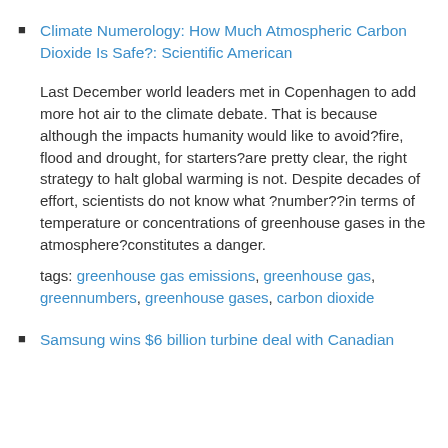Climate Numerology: How Much Atmospheric Carbon Dioxide Is Safe?: Scientific American
Last December world leaders met in Copenhagen to add more hot air to the climate debate. That is because although the impacts humanity would like to avoid?fire, flood and drought, for starters?are pretty clear, the right strategy to halt global warming is not. Despite decades of effort, scientists do not know what ?number??in terms of temperature or concentrations of greenhouse gases in the atmosphere?constitutes a danger.
tags: greenhouse gas emissions, greenhouse gas, greennumbers, greenhouse gases, carbon dioxide
Samsung wins $6 billion turbine deal with Canadian